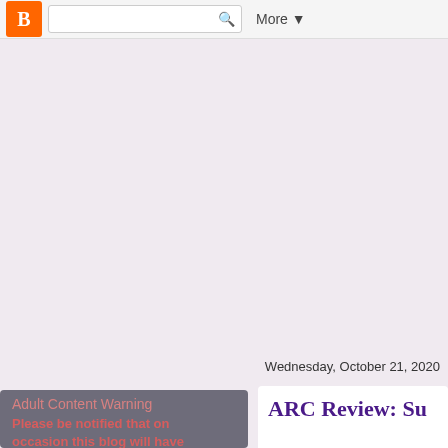Blogger navigation bar with search and More menu
My Fiction Nook
Reality bites. Escape to the pages of a book.
Honest and fair reviews from seven girls and a guy who read. A lot.
Home | About Us | Legalities
Wednesday, October 21, 2020
Adult Content Warning
Please be notified that on occasion this blog will have
ARC Review: Su